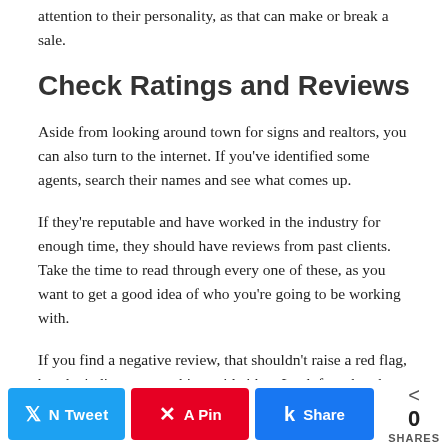attention to their personality, as that can make or break a sale.
Check Ratings and Reviews
Aside from looking around town for signs and realtors, you can also turn to the internet. If you've identified some agents, search their names and see what comes up.
If they're reputable and have worked in the industry for enough time, they should have reviews from past clients. Take the time to read through every one of these, as you want to get a good idea of who you're going to be working with.
If you find a negative review, that shouldn't raise a red flag, but don't discount anything said either. Look for what they
0 SHARES